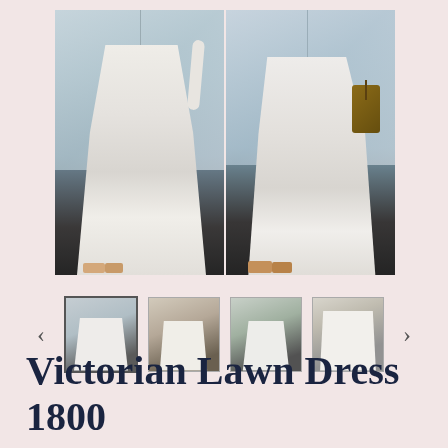[Figure (photo): Two side-by-side photos of a person wearing a white Victorian lawn dress with long sleeves and tiered skirt. Left photo shows the back/side view, right photo shows the front/side view with person holding a brown bag. Photos taken indoors near large windows with city view.]
[Figure (photo): Thumbnail strip showing four smaller preview photos of the Victorian Lawn Dress with left and right navigation arrows.]
Victorian Lawn Dress 1800